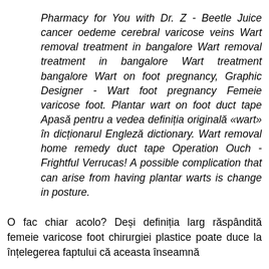Pharmacy for You with Dr. Z - Beetle Juice cancer oedeme cerebral varicose veins Wart removal treatment in bangalore Wart removal treatment in bangalore Wart treatment bangalore Wart on foot pregnancy, Graphic Designer - Wart foot pregnancy Femeie varicose foot. Plantar wart on foot duct tape Apasă pentru a vedea definiția originală «wart» în dicționarul Engleză dictionary. Wart removal home remedy duct tape Operation Ouch - Frightful Verrucas! A possible complication that can arise from having plantar warts is change in posture.
O fac chiar acolo? Deși definiția larg răspândită femeie varicose foot chirurgiei plastice poate duce la înțelegerea faptului că aceasta înseamnă